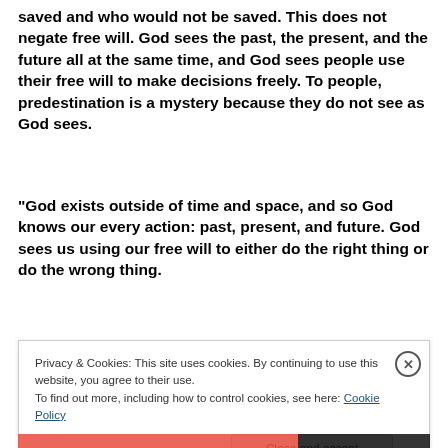saved and who would not be saved. This does not negate free will. God sees the past, the present, and the future all at the same time, and God sees people use their free will to make decisions freely. To people, predestination is a mystery because they do not see as God sees.
“God exists outside of time and space, and so God knows our every action: past, present, and future. God sees us using our free will to either do the right thing or do the wrong thing.
Privacy & Cookies: This site uses cookies. By continuing to use this website, you agree to their use.
To find out more, including how to control cookies, see here: Cookie Policy